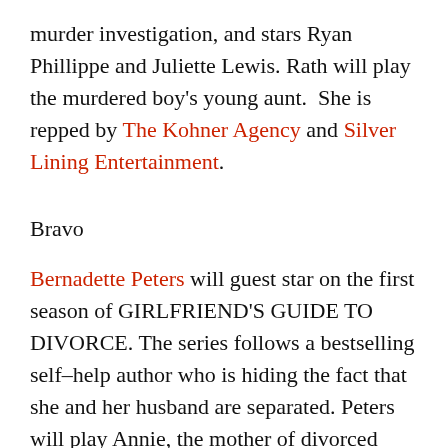murder investigation, and stars Ryan Phillippe and Juliette Lewis. Rath will play the murdered boy's young aunt.  She is repped by The Kohner Agency and Silver Lining Entertainment.
Bravo
Bernadette Peters will guest star on the first season of GIRLFRIEND'S GUIDE TO DIVORCE. The series follows a bestselling self–help author who is hiding the fact that she and her husband are separated. Peters will play Annie, the mother of divorced entertainment lawyer, Lyla, who will be played by Janeane Garofalo. Peters is repped by WME.
CBS